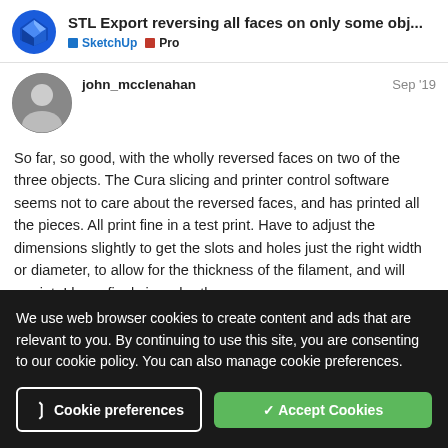STL Export reversing all faces on only some obj...  SketchUp  Pro
john_mcclenahan  Sep '19
So far, so good, with the wholly reversed faces on two of the three objects. The Cura slicing and printer control software seems not to care about the reversed faces, and has printed all the pieces. All print fine in a test print. Have to adjust the dimensions slightly to get the slots and holes just the right width or diameter, to allow for the thickness of the filament, and will reprint, I hope final size, shortly.
We use web browser cookies to create content and ads that are relevant to you. By continuing to use this site, you are consenting to our cookie policy. You can also manage cookie preferences.
Cookie preferences  ✓ Accept Cookies